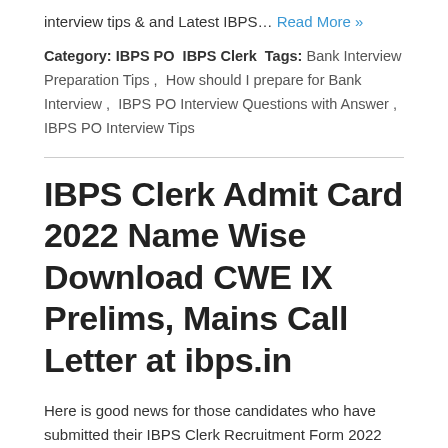interview tips & and Latest IBPS… Read More »
Category: IBPS PO  IBPS Clerk  Tags: Bank Interview Preparation Tips ,  How should I prepare for Bank Interview ,  IBPS PO Interview Questions with Answer ,  IBPS PO Interview Tips
IBPS Clerk Admit Card 2022 Name Wise Download CWE IX Prelims, Mains Call Letter at ibps.in
Here is good news for those candidates who have submitted their IBPS Clerk Recruitment Form 2022 before the last date that will able to get their admit card on the official website of agency i.e. ibps.in and here. We will also